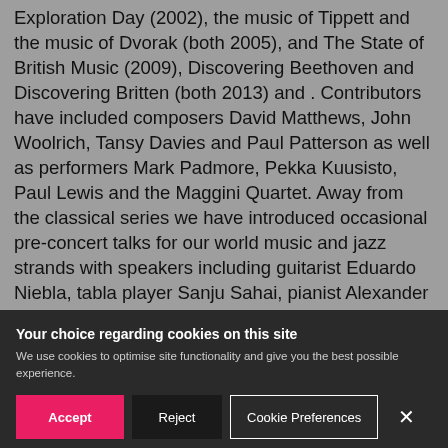Exploration Day (2002), the music of Tippett and the music of Dvorak (both 2005), and The State of British Music (2009), Discovering Beethoven and Discovering Britten (both 2013) and . Contributors have included composers David Matthews, John Woolrich, Tansy Davies and Paul Patterson as well as performers Mark Padmore, Pekka Kuusisto, Paul Lewis and the Maggini Quartet. Away from the classical series we have introduced occasional pre-concert talks for our world music and jazz strands with speakers including guitarist Eduardo Niebla, tabla player Sanju Sahai, pianist Alexander Hawkins and
Your choice regarding cookies on this site
We use cookies to optimise site functionality and give you the best possible experience.